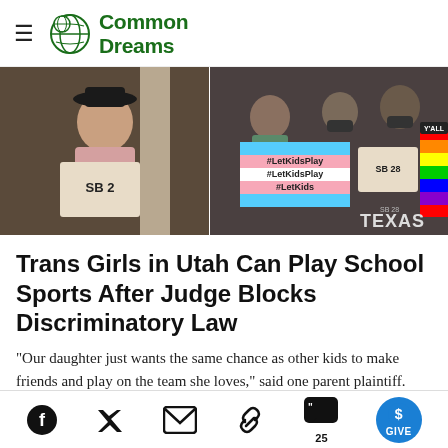Common Dreams
[Figure (photo): Protesters holding signs including 'SB 2', '#LetKidsPlay', and 'SB 28' signs at what appears to be a legislative building. People are wearing masks and some hold transgender pride flag colored signs.]
Trans Girls in Utah Can Play School Sports After Judge Blocks Discriminatory Law
"Our daughter just wants the same chance as other kids to make friends and play on the team she loves," said one parent plaintiff. "Today's ruling gives her the